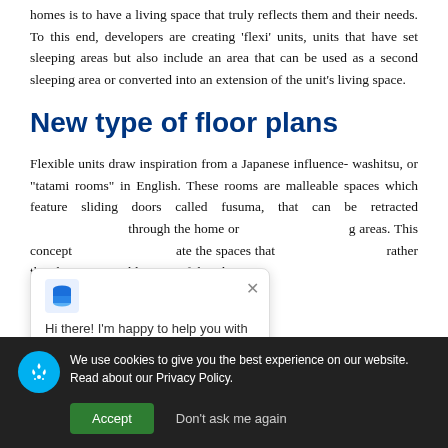homes is to have a living space that truly reflects them and their needs. To this end, developers are creating 'flexi' units, units that have set sleeping areas but also include an area that can be used as a second sleeping area or converted into an extension of the unit's living space.
New type of floor plans
Flexible units draw inspiration from a Japanese influence- washitsu, or "tatami rooms" in English. These rooms are malleable spaces which feature sliding doors called fusuma, that can be retracted through the home or [living] areas. This concept [allows residents to] create the spaces that [they want to use,] rather than having unusable areas of their home.
[Figure (screenshot): Chat popup with logo and message: 'Hi there! I'm happy to help you with any questions you have.' with a close X button.]
We use cookies to give you the best experience on our website. Read about [our] Privacy Policy.
[Figure (screenshot): Cookie consent bar with Accept button and Don't ask me again option.]